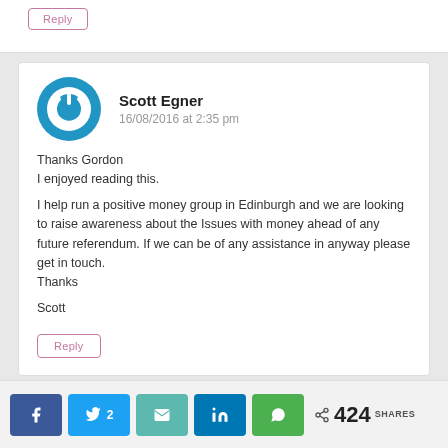Reply
Scott Egner
16/08/2016 at 2:35 pm

Thanks Gordon
I enjoyed reading this.

I help run a positive money group in Edinburgh and we are looking to raise awareness about the Issues with money ahead of any future referendum. If we can be of any assistance in anyway please get in touch.
Thanks

Scott
Reply
2  424 SHARES